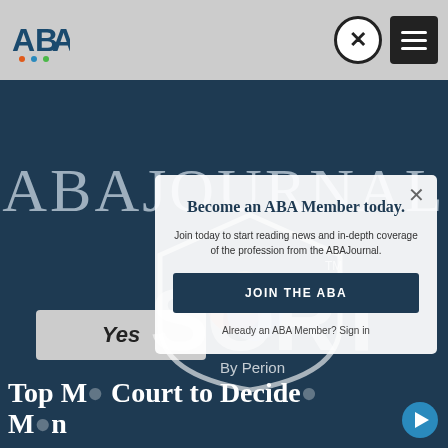ABA
ABAJOURNAL
[Figure (logo): SORT by Perion watermark logo overlaid on the page]
Become an ABA Member today.
Join today to start reading news and in-depth coverage of the profession from the ABAJournal.
JOIN THE ABA
Already an ABA Member? Sign in
Yes
Top M... Court to Decide...